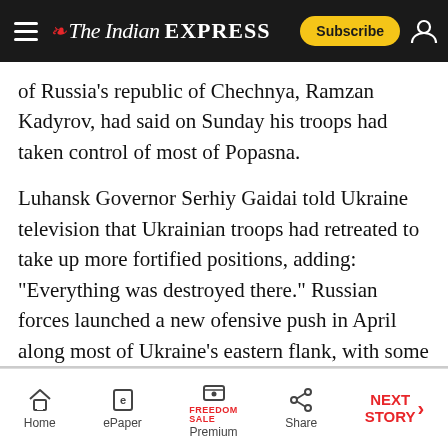The Indian EXPRESS — Subscribe
of Russia's republic of Chechnya, Ramzan Kadyrov, had said on Sunday his troops had taken control of most of Popasna.
Luhansk Governor Serhiy Gaidai told Ukraine television that Ukrainian troops had retreated to take up more fortified positions, adding: "Everything was destroyed there." Russian forces launched a new ofensive push in April along most of Ukraine's eastern flank, with some of most intense attacks and shelling taking place recently around Popasna in the Luhansk region. (Reuters)
Home | ePaper | Premium | Share | NEXT STORY